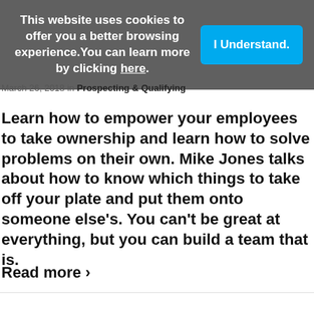This website uses cookies to offer you a better browsing experience. You can learn more by clicking here.
I Understand.
March 26, 2018 in Prospecting & Qualifying
Learn how to empower your employees to take ownership and learn how to solve problems on their own. Mike Jones talks about how to know which things to take off your plate and put them onto someone else's. You can't be great at everything, but you can build a team that is.
Read more ›